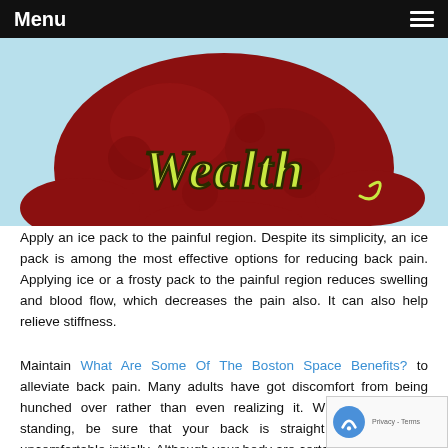Menu
[Figure (illustration): Cartoon illustration of a large red apple with the word 'Wealth' written in yellow-green decorative lettering, against a light blue background.]
Apply an ice pack to the painful region. Despite its simplicity, an ice pack is among the most effective options for reducing back pain. Applying ice or a frosty pack to the painful region reduces swelling and blood flow, which decreases the pain also. It can also help relieve stiffness.
Maintain What Are Some Of The Boston Space Benefits? to alleviate back pain. Many adults have got discomfort from being hunched over rather than even realizing it. When you are or standing, be sure that your back is straight incredibly. feel uncomfortable initially. Although your body are certa...